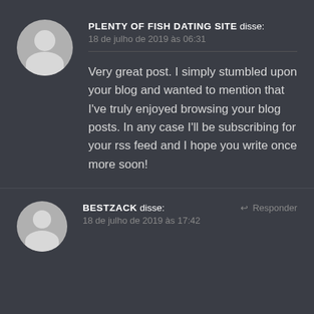[Figure (illustration): Gray circular avatar with silhouette of a person (head and shoulders), light gray on medium gray background]
PLENTY OF FISH DATING SITE disse:
18 de julho de 2019 às 06:31
Very great post. I simply stumbled upon your blog and wanted to mention that I've truly enjoyed browsing your blog posts. In any case I'll be subscribing for your rss feed and I hope you write once more soon!
[Figure (illustration): Gray circular avatar with silhouette of a person (head and shoulders), partially visible at bottom of page]
BESTZACK disse:
18 de julho de 2019 às 17:42
Responder